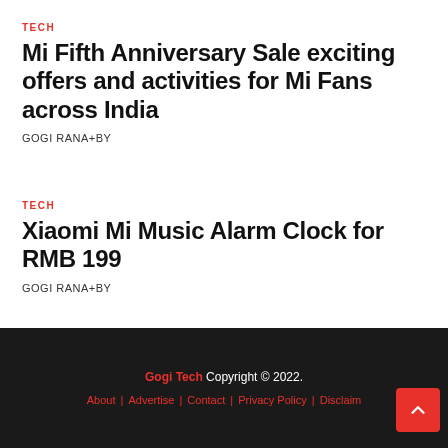TECH
Mi Fifth Anniversary Sale exciting offers and activities for Mi Fans across India
GOGI RANA+BY
TECH
Xiaomi Mi Music Alarm Clock for RMB 199
GOGI RANA+BY
Gogi Tech Copyright © 2022. About | Advertise | Contact | Privacy Policy | Disclaim...